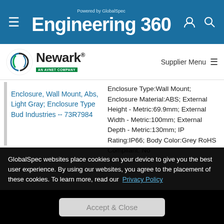Powered by GlobalSpec Engineering 360
[Figure (logo): Newark - An Avnet Company logo]
Supplier Menu
Enclosure, Wall Mount, Abs, Light Gray; Enclosure Type Bud Industries -- 73R7984
Enclosure Type:Wall Mount; Enclosure Material:ABS; External Height - Metric:69.9mm; External Width - Metric:100mm; External Depth - Metric:130mm; IP Rating:IP66; Body Color:Grey RoHS Compliant: No
GlobalSpec websites place cookies on your device to give you the best user experience. By using our websites, you agree to the placement of these cookies. To learn more, read our Privacy Policy
Accept & Close